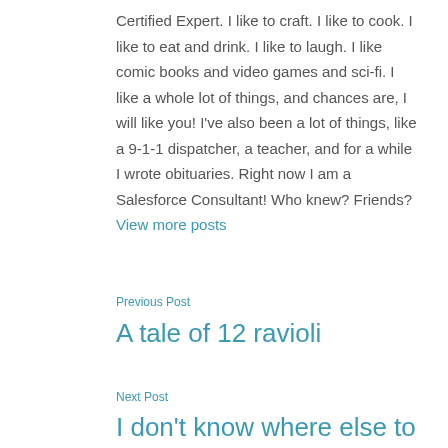Certified Expert. I like to craft. I like to cook. I like to eat and drink. I like to laugh. I like comic books and video games and sci-fi. I like a whole lot of things, and chances are, I will like you! I've also been a lot of things, like a 9-1-1 dispatcher, a teacher, and for a while I wrote obituaries. Right now I am a Salesforce Consultant! Who knew? Friends? View more posts
Previous Post
A tale of 12 ravioli
Next Post
I don't know where else to get it